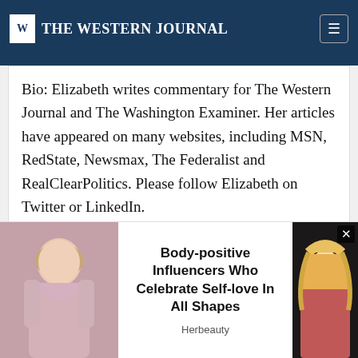THE WESTERN JOURNAL
Bio: Elizabeth writes commentary for The Western Journal and The Washington Examiner. Her articles have appeared on many websites, including MSN, RedState, Newsmax, The Federalist and RealClearPolitics. Please follow Elizabeth on Twitter or LinkedIn.
@StaufferVaughn
Advertisement
Around the Web
[Figure (photo): Advertisement overlay showing a woman in a pink outfit on the left, text 'Body-positive Influencers Who Celebrate Self-love In All Shapes' in the center with source 'Herbeauty', and an anime-style illustration on the right. A close button (×) appears in the top-right corner.]